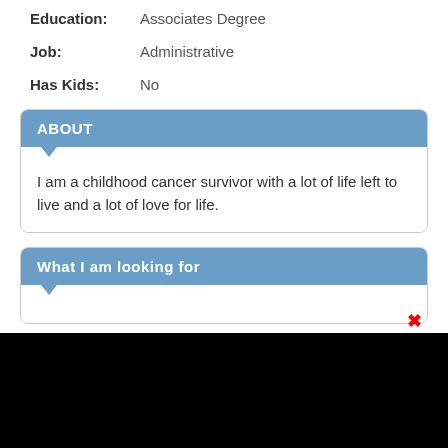Education: Associates Degree
Job: Administrative
Has Kids: No
ABOUT
I am a childhood cancer survivor with a lot of life left to live and a lot of love for life.
What I am looking for